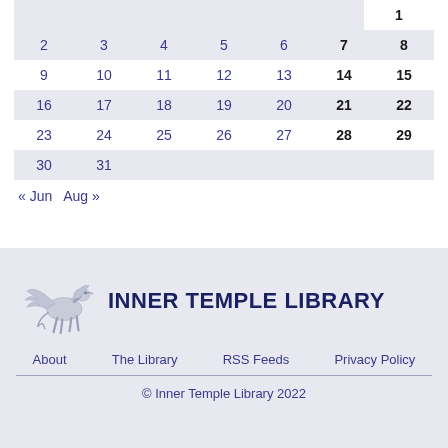|  |  |  |  |  |  |  |
| --- | --- | --- | --- | --- | --- | --- |
|  |  |  |  |  |  | 1 |
| 2 | 3 | 4 | 5 | 6 | 7 | 8 |
| 9 | 10 | 11 | 12 | 13 | 14 | 15 |
| 16 | 17 | 18 | 19 | 20 | 21 | 22 |
| 23 | 24 | 25 | 26 | 27 | 28 | 29 |
| 30 | 31 |  |  |  |  |  |
« Jun  Aug »
[Figure (logo): Inner Temple Library logo with Pegasus (winged horse) graphic and text 'INNER TEMPLE LIBRARY']
About   The Library   RSS Feeds   Privacy Policy
© Inner Temple Library 2022